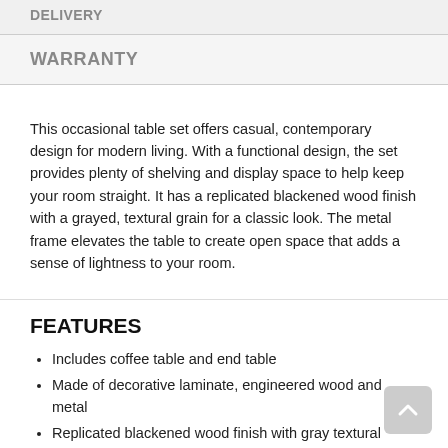DELIVERY
WARRANTY
This occasional table set offers casual, contemporary design for modern living. With a functional design, the set provides plenty of shelving and display space to help keep your room straight. It has a replicated blackened wood finish with a grayed, textural grain for a classic look. The metal frame elevates the table to create open space that adds a sense of lightness to your room.
FEATURES
Includes coffee table and end table
Made of decorative laminate, engineered wood and metal
Replicated blackened wood finish with gray textural